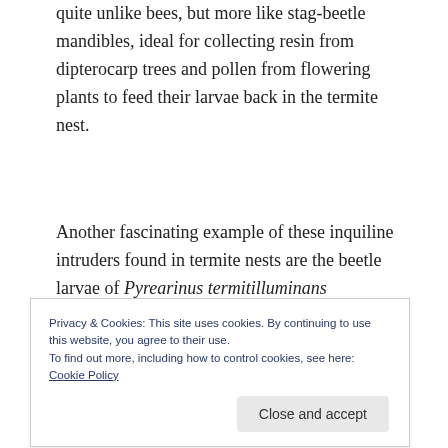quite unlike bees, but more like stag-beetle mandibles, ideal for collecting resin from dipterocarp trees and pollen from flowering plants to feed their larvae back in the termite nest.
Another fascinating example of these inquiline intruders found in termite nests are the beetle larvae of Pyrearinus termitilluminans (Elateridae).The photograph in Fig.2 shows that the lights are on and someone is at home! It is
Privacy & Cookies: This site uses cookies. By continuing to use this website, you agree to their use.
To find out more, including how to control cookies, see here: Cookie Policy
the larvae creates a biological block of flats with the lights